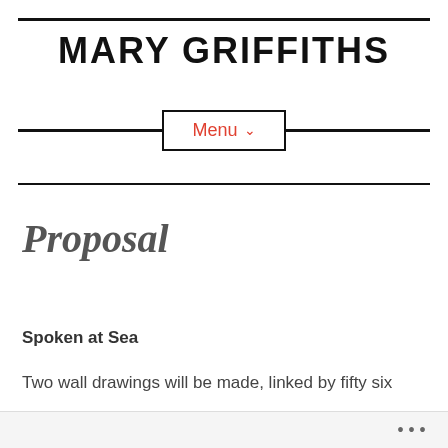MARY GRIFFITHS
Proposal
Spoken at Sea
Two wall drawings will be made, linked by fifty six